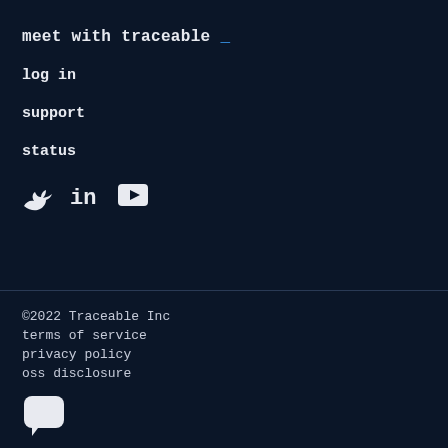meet with traceable _
log in
support
status
[Figure (illustration): Social media icons: Twitter bird icon, LinkedIn 'in' icon, YouTube play button icon]
©2022 Traceable Inc
terms of service
privacy policy
oss disclosure
[Figure (illustration): Chat/message bubble icon in white]